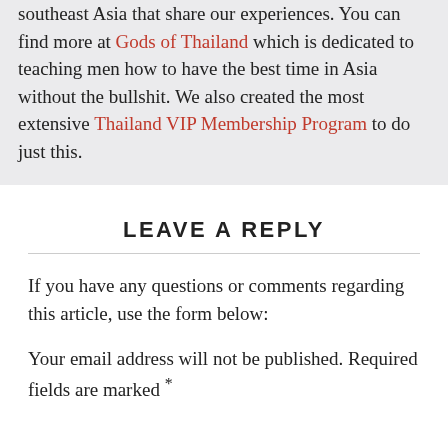southeast Asia that share our experiences. You can find more at Gods of Thailand which is dedicated to teaching men how to have the best time in Asia without the bullshit. We also created the most extensive Thailand VIP Membership Program to do just this.
LEAVE A REPLY
If you have any questions or comments regarding this article, use the form below:
Your email address will not be published. Required fields are marked *